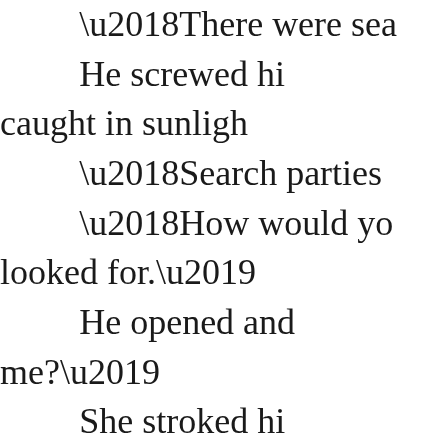‘There were sea He screwed hi caught in sunlig ‘Search parties ‘How would yo looked for.’ He opened and me?’ She stroked hi them to. I didn’t k ‘But I only we where you though